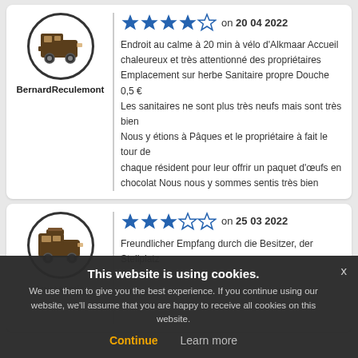BernardReculemont — 4 stars on 20 04 2022 — Endroit au calme à 20 min à vélo d'Alkmaar Accueil chaleureux et très attentionné des propriétaires Emplacement sur herbe Sanitaire propre Douche 0,5 € Les sanitaires ne sont plus très neufs mais sont très bien Nous y étions à Pâques et le propriétaire à fait le tour de chaque résident pour leur offrir un paquet d'œufs en chocolat Nous nous y sommes sentis très bien
laurasamia — 3 stars on 25 03 2022 — Freundlicher Empfang durch die Besitzer, der Stellplatz ...
This website is using cookies. We use them to give you the best experience. If you continue using our website, we'll assume that you are happy to receive all cookies on this website. Continue  Learn more